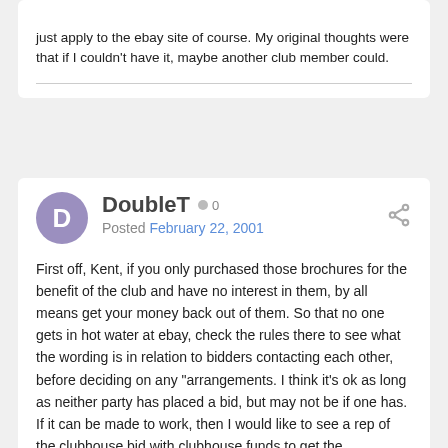just apply to the ebay site of course. My original thoughts were that if I couldn't have it, maybe another club member could.
DoubleT  0
Posted February 22, 2001
First off, Kent, if you only purchased those brochures for the benefit of the club and have no interest in them, by all means get your money back out of them. So that no one gets in hot water at ebay, check the rules there to see what the wording is in relation to bidders contacting each other, before deciding on any "arrangements. I think it's ok as long as neither party has placed a bid, but may not be if one has. If it can be made to work, then I would like to see a rep of the clubhouse bid with clubhouse funds to get the brochures, (including ads, and NLA manuals) that no other members are bidding on, and have copies made available to members only (in PDF?), then re-auctioned to recoup the money. Of course there may be an aspect of this idea I'm not thinking of that